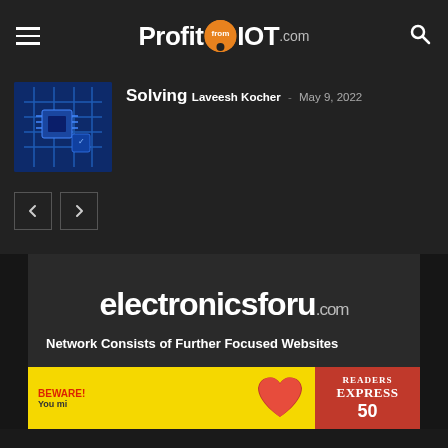ProfitfromIOT.com
Solving
Laveesh Kocher - May 9, 2022
[Figure (photo): Circuit board with blue lighting thumbnail]
[Figure (logo): electronicsforu.com logo with tagline: Network Consists of Further Focused Websites]
[Figure (other): Beware banner advertisement in yellow with red heart graphic and Express magazine logo]